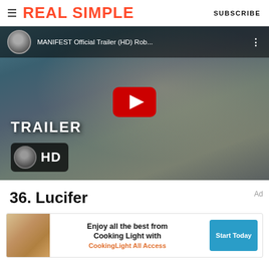REAL SIMPLE | SUBSCRIBE
[Figure (screenshot): YouTube video thumbnail for MANIFEST Official Trailer (HD) Rob... showing a young blonde woman in a busy indoor setting, with YouTube play button overlay, TRAILER text, HD badge, and channel avatar]
36. Lucifer
[Figure (infographic): Advertisement banner for Cooking Light All Access: 'Enjoy all the best from Cooking Light with CookingLight All Access' with Start Today button, showing a food image on the left]